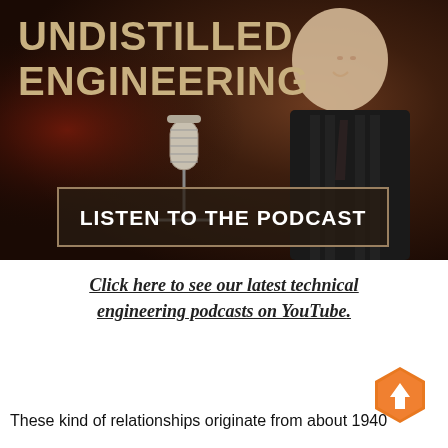[Figure (photo): Promotional image for 'Undistilled Engineering' podcast showing a man in a suit next to a microphone on a dark brown/red smoky background, with a button reading 'LISTEN TO THE PODCAST']
Click here to see our latest technical engineering podcasts on YouTube.
[Figure (other): Orange hexagon with upward arrow icon]
These kind of relationships originate from about 1940